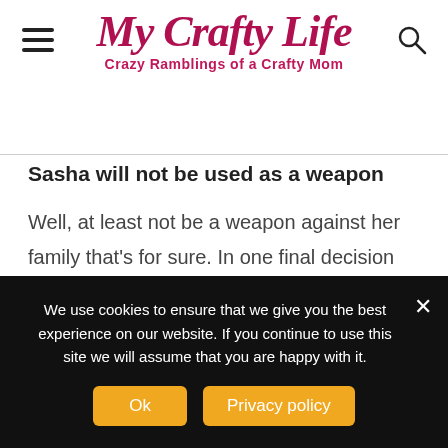My Crafty Life — Crazy Ramblings of a Crafty Mom
Sasha will not be used as a weapon
Well, at least not be a weapon against her family that's for sure. In one final decision on how to best suit the cause, her family and I guess kind of the world she actually fooled Negan and took that pill from Eugene. Did he know what she was planning?
We use cookies to ensure that we give you the best experience on our website. If you continue to use this site we will assume that you are happy with it.